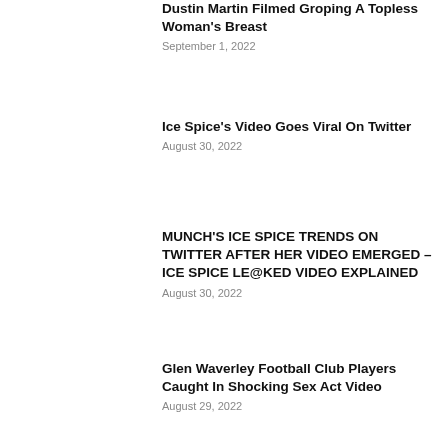Dustin Martin Filmed Groping A Topless Woman's Breast
September 1, 2022
Ice Spice's Video Goes Viral On Twitter
August 30, 2022
MUNCH'S ICE SPICE TRENDS ON TWITTER AFTER HER VIDEO EMERGED – ICE SPICE LE@KED VIDEO EXPLAINED
August 30, 2022
Glen Waverley Football Club Players Caught In Shocking Sex Act Video
August 29, 2022